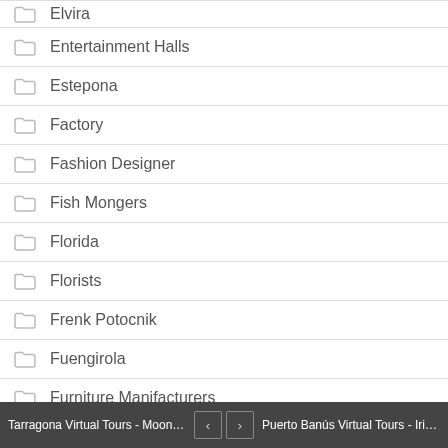Elvira
Entertainment Halls
Estepona
Factory
Fashion Designer
Fish Mongers
Florida
Florists
Frenk Potocnik
Fuengirola
Furniture Manifacturers
Gent
Germasogeia
Tarragona Virtual Tours - Moon E... < > Puerto Banús Virtual Tours - Irish...